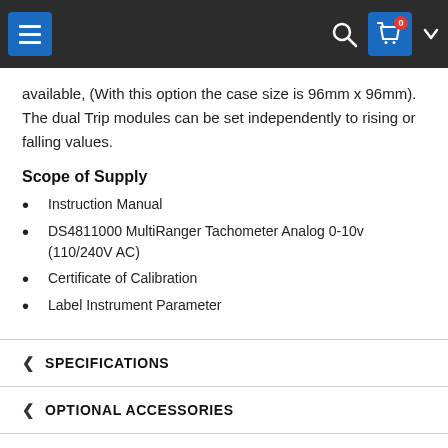Navigation bar with hamburger menu, search icon, cart icon with badge '0', and chevron
available, (With this option the case size is 96mm x 96mm). The dual Trip modules can be set independently to rising or falling values.
Scope of Supply
Instruction Manual
DS4811000 MultiRanger Tachometer Analog 0-10v (110/240V AC)
Certificate of Calibration
Label Instrument Parameter
SPECIFICATIONS
OPTIONAL ACCESSORIES
ADDITIONAL CERTIFICATES